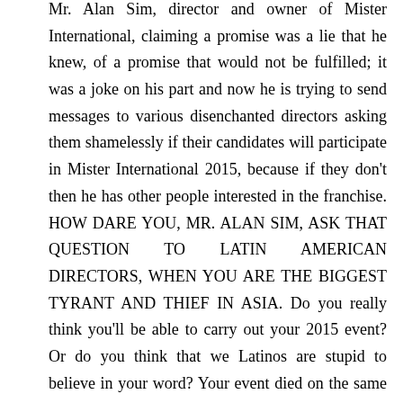Mr. Alan Sim, director and owner of Mister International, claiming a promise was a lie that he knew, of a promise that would not be fulfilled; it was a joke on his part and now he is trying to send messages to various disenchanted directors asking them shamelessly if their candidates will participate in Mister International 2015, because if they don't then he has other people interested in the franchise. HOW DARE YOU, MR. ALAN SIM, ASK THAT QUESTION TO LATIN AMERICAN DIRECTORS, WHEN YOU ARE THE BIGGEST TYRANT AND THIEF IN ASIA. Do you really think you'll be able to carry out your 2015 event? Or do you think that we Latinos are stupid to believe in your word? Your event died on the same day that you and the Korean national director lied to us many times.
Latin America - and all the other directors in the world who were affected - will no longer believe in you. From now on, we recognize that the best event in Asia is Mr. Global owned by Mr. Pradit Pradinunt